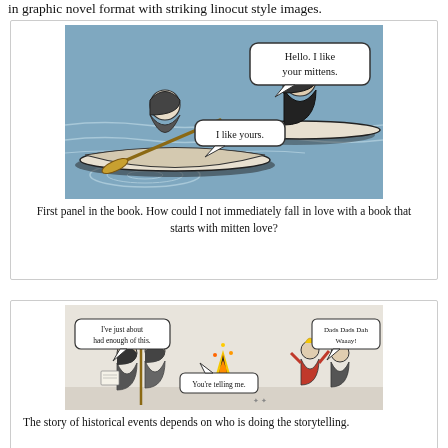in graphic novel format with striking linocut style images.
[Figure (illustration): Comic panel showing two people in kayaks on water. Speech bubbles read: 'Hello. I like your mittens.' and 'I like yours.']
First panel in the book. How could I not immediately fall in love with a book that starts with mitten love?
[Figure (illustration): Comic panel showing indigenous people with a fire, speech bubbles reading 'I've just about had enough of this.', 'You're telling me.', and 'Dads Dads Dah Waaay!']
The story of historical events depends on who is doing the storytelling.